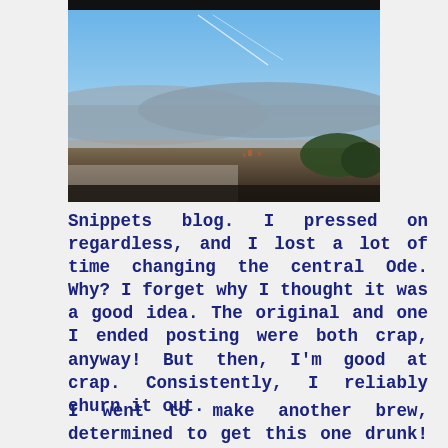[Figure (photo): Landscape photograph showing a wide view of countryside under a mostly blue sky with some clouds and contrails. Dark strip at top edge visible.]
Snippets blog. I pressed on regardless, and I lost a lot of time changing the central Ode. Why? I forget why I thought it was a good idea. The original and one I ended posting were both crap, anyway! But then, I'm good at crap. Consistently, I reliably churn it out.
I went to make another brew, determined to get this one drunk! The